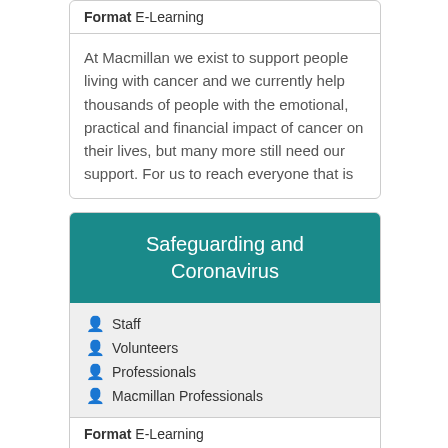Format E-Learning
At Macmillan we exist to support people living with cancer and we currently help thousands of people with the emotional, practical and financial impact of cancer on their lives, but many more still need our support. For us to reach everyone that is
Safeguarding and Coronavirus
Staff
Volunteers
Professionals
Macmillan Professionals
Format E-Learning
This package has been designed for all staff, professionals and volunteers to